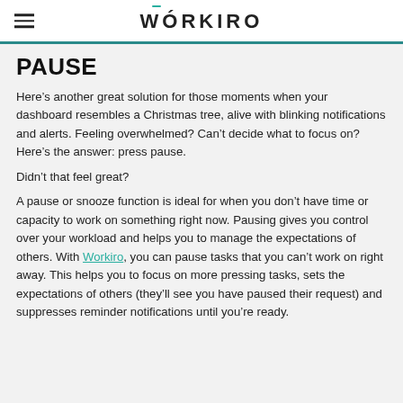WORKIRO
PAUSE
Here’s another great solution for those moments when your dashboard resembles a Christmas tree, alive with blinking notifications and alerts. Feeling overwhelmed? Can’t decide what to focus on? Here’s the answer: press pause.
Didn’t that feel great?
A pause or snooze function is ideal for when you don’t have time or capacity to work on something right now. Pausing gives you control over your workload and helps you to manage the expectations of others. With Workiro, you can pause tasks that you can’t work on right away. This helps you to focus on more pressing tasks, sets the expectations of others (they’ll see you have paused their request) and suppresses reminder notifications until you’re ready.